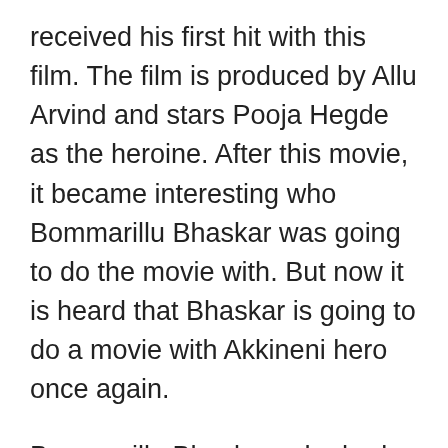received his first hit with this film. The film is produced by Allu Arvind and stars Pooja Hegde as the heroine. After this movie, it became interesting who Bommarillu Bhaskar was going to do the movie with. But now it is heard that Bhaskar is going to do a movie with Akkineni hero once again.
Bommarillu Bhaskar, who had a decent hit with his younger brother, is now planning to do a film with Anna. Bhaskar is preparing a family story for Nagachaitanya. He is currently working on a film titled Thankyou directed by Chaitanya Vikram Kumar. The film was followed by a film commit with Tamil director Venkat Prabhu. Also, the government is going to make a film under